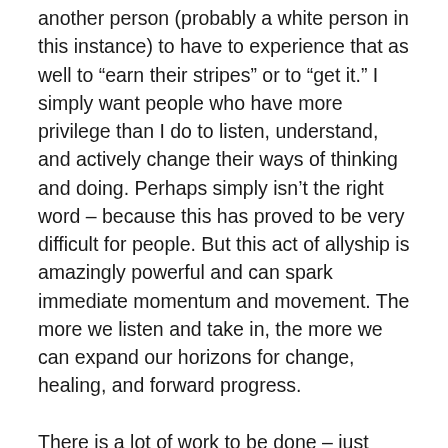another person (probably a white person in this instance) to have to experience that as well to “earn their stripes” or to “get it.” I simply want people who have more privilege than I do to listen, understand, and actively change their ways of thinking and doing. Perhaps simply isn’t the right word – because this has proved to be very difficult for people. But this act of allyship is amazingly powerful and can spark immediate momentum and movement. The more we listen and take in, the more we can expand our horizons for change, healing, and forward progress.
There is a lot of work to be done – just based on the many examples you give in your post. The